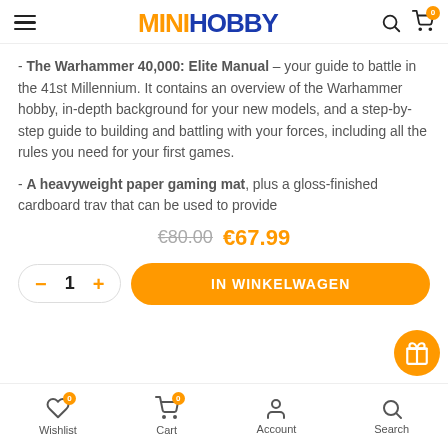MINIHOBBY
- The Warhammer 40,000: Elite Manual – your guide to battle in the 41st Millennium. It contains an overview of the Warhammer hobby, in-depth background for your new models, and a step-by-step guide to building and battling with your forces, including all the rules you need for your first games.
- A heavyweight paper gaming mat, plus a gloss-finished cardboard trav that can be used to provide
€80.00 €67.99
- 1 + IN WINKELWAGEN
Wishlist 0  Cart 0  Account  Search